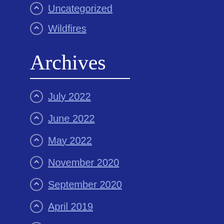Uncategorized
Wildfires
Archives
July 2022
June 2022
May 2022
November 2020
September 2020
April 2019
March 2019
February 2019
January 2019